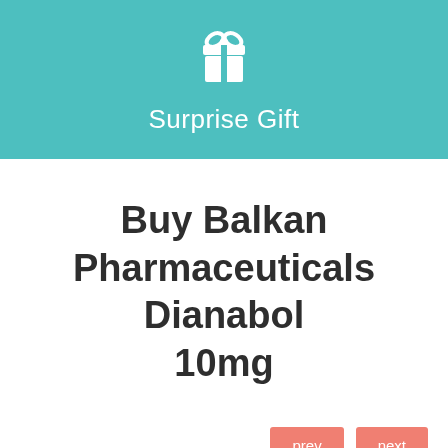[Figure (illustration): Teal/turquoise banner with a white gift box icon and the text 'Surprise Gift' in white below it]
Buy Balkan Pharmaceuticals Dianabol 10mg
prev   next